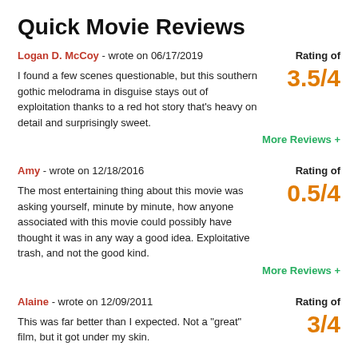Quick Movie Reviews
Logan D. McCoy - wrote on 06/17/2019
Rating of 3.5/4
I found a few scenes questionable, but this southern gothic melodrama in disguise stays out of exploitation thanks to a red hot story that's heavy on detail and surprisingly sweet.
More Reviews +
Amy - wrote on 12/18/2016
Rating of 0.5/4
The most entertaining thing about this movie was asking yourself, minute by minute, how anyone associated with this movie could possibly have thought it was in any way a good idea. Exploitative trash, and not the good kind.
More Reviews +
Alaine - wrote on 12/09/2011
Rating of 3/4
This was far better than I expected. Not a "great" film, but it got under my skin.